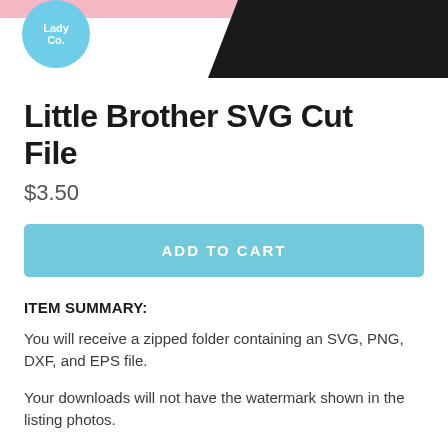[Figure (illustration): Header with pink bar, a circular teal logo reading 'Lady Co.' on the left, and a black diagonal shape on the right]
Little Brother SVG Cut File
$3.50
ADD TO CART
ITEM SUMMARY:
You will receive a zipped folder containing an SVG, PNG, DXF, and EPS file.
Your downloads will not have the watermark shown in the listing photos.